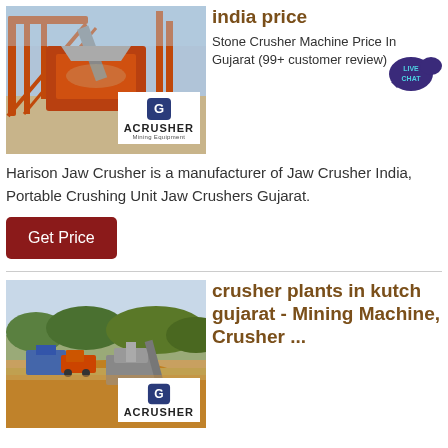[Figure (photo): Industrial stone crusher machine at a mining site with orange steel framework structure]
india price
Stone Crusher Machine Price In Gujarat (99+ customer review)
[Figure (logo): ACRUSHER Mining Equipment logo with live chat button]
Harison Jaw Crusher is a manufacturer of Jaw Crusher India, Portable Crushing Unit Jaw Crushers Gujarat.
Get Price
[Figure (photo): Open pit mining site with crusher plant machinery and muddy terrain]
crusher plants in kutch gujarat - Mining Machine, Crusher ...